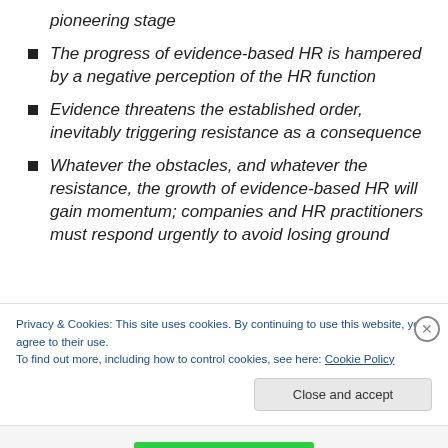pioneering stage
The progress of evidence-based HR is hampered by a negative perception of the HR function
Evidence threatens the established order, inevitably triggering resistance as a consequence
Whatever the obstacles, and whatever the resistance, the growth of evidence-based HR will gain momentum; companies and HR practitioners must respond urgently to avoid losing ground
Privacy & Cookies: This site uses cookies. By continuing to use this website, you agree to their use. To find out more, including how to control cookies, see here: Cookie Policy
Close and accept